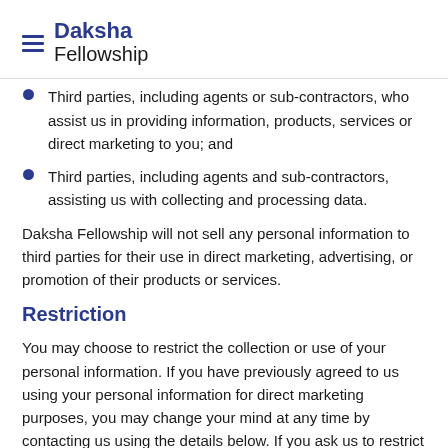Daksha Fellowship
Third parties, including agents or sub-contractors, who assist us in providing information, products, services or direct marketing to you; and
Third parties, including agents and sub-contractors, assisting us with collecting and processing data.
Daksha Fellowship will not sell any personal information to third parties for their use in direct marketing, advertising, or promotion of their products or services.
Restriction
You may choose to restrict the collection or use of your personal information. If you have previously agreed to us using your personal information for direct marketing purposes, you may change your mind at any time by contacting us using the details below. If you ask us to restrict or limit how we process your personal information,